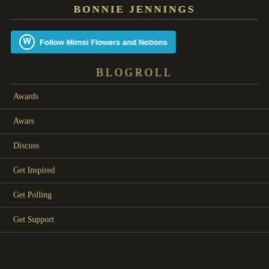BONNIE JENNINGS
[Figure (other): WordPress Follow button: Follow Mimsi Flowers and Notions]
BLOGROLL
Awards
Awars
Discuss
Get Inspired
Get Polling
Get Support